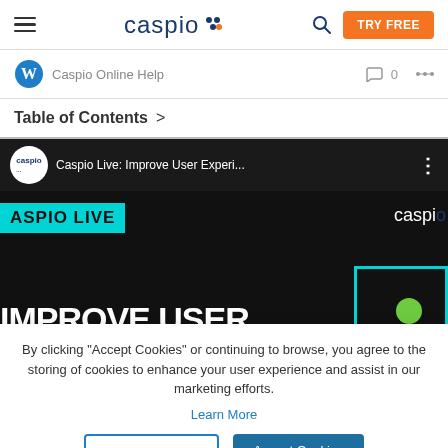[Figure (screenshot): Caspio website navigation bar with hamburger menu, Caspio logo with colored dots, search icon, and orange TRY FREE button]
Caspio Online Help
Table of Contents >
[Figure (screenshot): YouTube-style video thumbnail showing Caspio Live: Improve User Experi... video with teal ASPIO LIVE badge and IMPROVE USER text in white bold letters on black background]
By clicking “Accept Cookies” or continuing to browse, you agree to the storing of cookies to enhance your user experience and assist in our marketing efforts.
Learn More
Cookie Settings
Accept Cookies